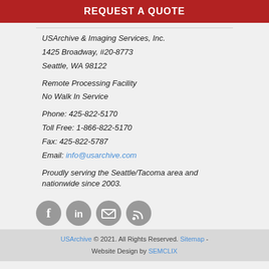REQUEST A QUOTE
USArchive & Imaging Services, Inc.
1425 Broadway, #20-8773
Seattle, WA 98122

Remote Processing Facility
No Walk In Service

Phone: 425-822-5170
Toll Free: 1-866-822-5170
Fax: 425-822-5787
Email: info@usarchive.com

Proudly serving the Seattle/Tacoma area and nationwide since 2003.
[Figure (illustration): Four social media icons: Facebook, LinkedIn, Email, RSS feed]
USArchive © 2021. All Rights Reserved. Sitemap - Website Design by SEMCLIX